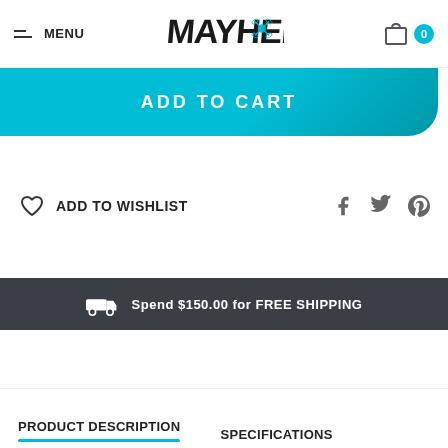MENU | MAYHEM logo | Cart 0
ADD TO CART
ADD TO WISHLIST
Spend $150.00 for FREE SHIPPING
PRODUCT DESCRIPTION
SPECIFICATIONS